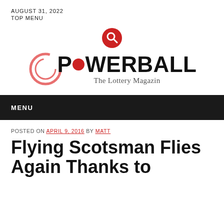AUGUST 31, 2022
TOP MENU
[Figure (other): Red circular search icon with magnifying glass]
[Figure (logo): Powerball - The Lottery Magazin logo with circular arc graphic and red circle replacing O in POWERBALL]
MENU
POSTED ON APRIL 9, 2016 BY MATT
Flying Scotsman Flies Again Thanks to